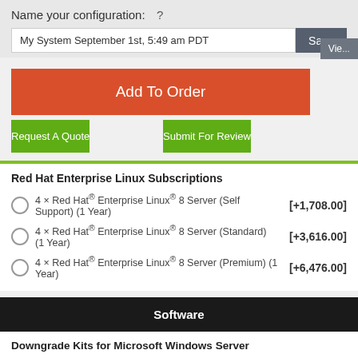Name your configuration:  ?
My System September 1st, 5:49 am PDT
Add To Order
Request A Quote
Submit For Review
Red Hat Enterprise Linux Subscriptions
4 × Red Hat® Enterprise Linux® 8 Server (Self Support) (1 Year)  [+1,708.00]
4 × Red Hat® Enterprise Linux® 8 Server (Standard) (1 Year)  [+3,616.00]
4 × Red Hat® Enterprise Linux® 8 Server (Premium) (1 Year)  [+6,476.00]
Software
Downgrade Kits for Microsoft Windows Server